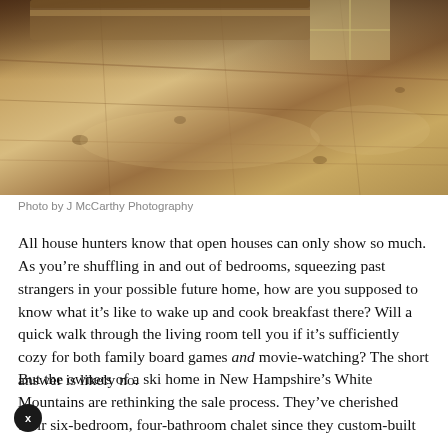[Figure (photo): Interior photo showing wide-plank hardwood floors of a chalet/cabin, with a bed frame visible at top and light streaming through windows.]
Photo by J McCarthy Photography
All house hunters know that open houses can only show so much. As you’re shuffling in and out of bedrooms, squeezing past strangers in your possible future home, how are you supposed to know what it’s like to wake up and cook breakfast there? Will a quick walk through the living room tell you if it’s sufficiently cozy for both family board games and movie-watching? The short answer is likely no.
But the owners of a ski home in New Hampshire’s White Mountains are rethinking the sale process. They’ve cherished their six-bedroom, four-bathroom chalet since they custom-built